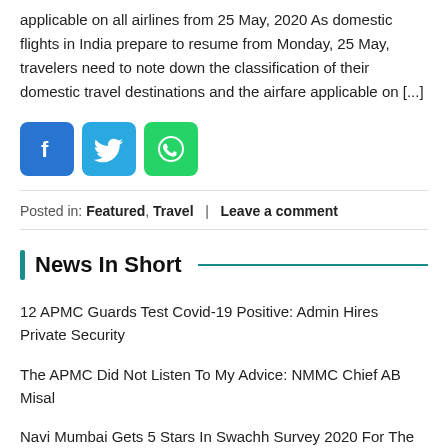applicable on all airlines from 25 May, 2020 As domestic flights in India prepare to resume from Monday, 25 May, travelers need to note down the classification of their domestic travel destinations and the airfare applicable on [...]
[Figure (illustration): Three social media share buttons: Facebook (blue), Twitter (light blue), WhatsApp (green)]
Posted in: Featured, Travel | Leave a comment
News In Short
12 APMC Guards Test Covid-19 Positive: Admin Hires Private Security
The APMC Did Not Listen To My Advice: NMMC Chief AB Misal
Navi Mumbai Gets 5 Stars In Swachh Survey 2020 For The Second